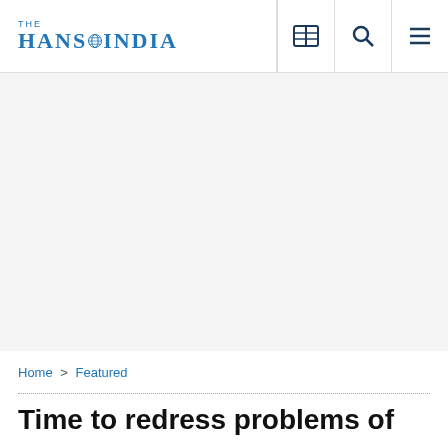THE HANS INDIA
[Figure (other): Advertisement / blank area below navigation header]
Home > Featured
Time to redress problems of